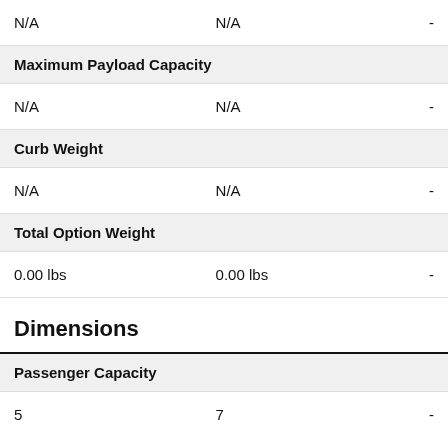|  |  |  |
| --- | --- | --- |
| N/A | N/A | - |
| Maximum Payload Capacity |  |  |
| N/A | N/A | - |
| Curb Weight |  |  |
| N/A | N/A | - |
| Total Option Weight |  |  |
| 0.00 lbs | 0.00 lbs | - |
Dimensions
|  |  |  |
| --- | --- | --- |
| Passenger Capacity |  |  |
| 5 | 7 | - |